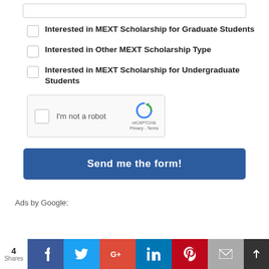Interested in MEXT Scholarship for Graduate Students
Interested in Other MEXT Scholarship Type
Interested in MEXT Scholarship for Undergraduate Students
[Figure (other): reCAPTCHA widget with checkbox and 'I'm not a robot' text]
Send me the form!
Ads by Google:
4 Shares — social share bar: Facebook, Twitter, Google+, LinkedIn, Pinterest, Email, Bookmark